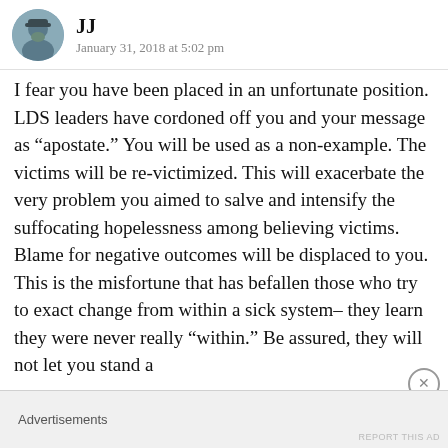JJ — January 31, 2018 at 5:02 pm
I fear you have been placed in an unfortunate position. LDS leaders have cordoned off you and your message as “apostate.” You will be used as a non-example. The victims will be re-victimized. This will exacerbate the very problem you aimed to salve and intensify the suffocating hopelessness among believing victims. Blame for negative outcomes will be displaced to you. This is the misfortune that has befallen those who try to exact change from within a sick system– they learn they were never really “within.” Be assured, they will not let you stand a
Advertisements